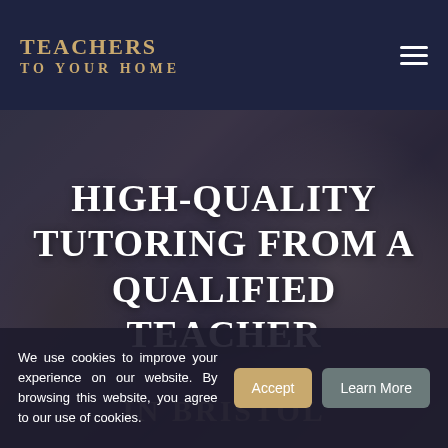[Figure (logo): Teachers To Your Home logo in gold text on dark navy background]
[Figure (photo): Background hero photo of students studying, dimly lit with dark overlay]
HIGH-QUALITY TUTORING FROM A QUALIFIED TEACHER
IN BRISTOL
We use cookies to improve your experience on our website. By browsing this website, you agree to our use of cookies.